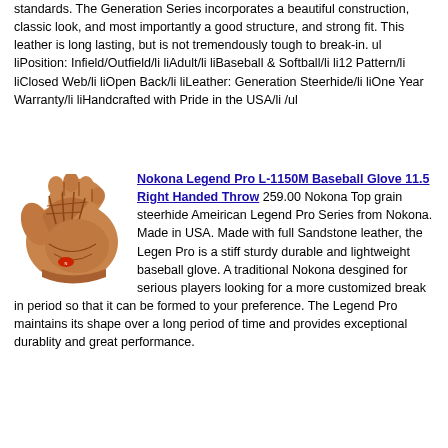standards. The Generation Series incorporates a beautiful construction, classic look, and most importantly a good structure, and strong fit. This leather is long lasting, but is not tremendously tough to break-in. ul liPosition: Infield/Outfield/li liAdult/li liBaseball & Softball/li li12 Pattern/li liClosed Web/li liOpen Back/li liLeather: Generation Steerhide/li liOne Year Warranty/li liHandcrafted with Pride in the USA/li /ul
[Figure (photo): A tan/brown leather baseball glove, Nokona brand, viewed from the front at an angle showing the pocket and webbing.]
Nokona Legend Pro L-1150M Baseball Glove 11.5 Right Handed Throw 259.00 Nokona Top grain steerhide Ameirican Legend Pro Series from Nokona. Made in USA. Made with full Sandstone leather, the Legen Pro is a stiff sturdy durable and lightweight baseball glove. A traditional Nokona desgined for serious players looking for a more customized break in period so that it can be formed to your preference. The Legend Pro maintains its shape over a long period of time and provides exceptional durablity and great performance.